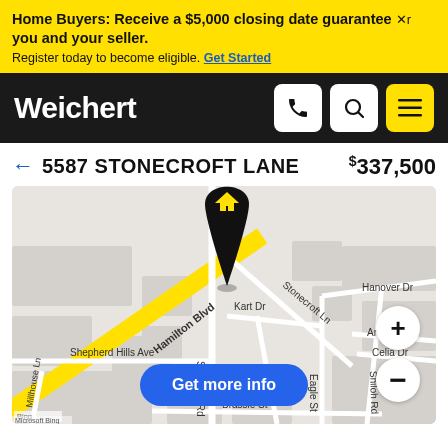Home Buyers: Receive a $5,000 closing date guarantee for you and your seller. Register today to become eligible. Get Started
[Figure (screenshot): Weichert logo and navigation bar with phone, search, and menu icons on dark background]
← 5587 STONECROFT LANE   $337,500
[Figure (map): Bing map showing 5587 Stonecroft Lane neighborhood with Hamilton Blvd, Stonecroft Ln, S Krocks Rd, Kart Dr, Driver Pl, Eagle St, Shiloh Rd, Hanover Dr, Andrea Dr, Celia Dr, Shepherd Hills Ave, Brassie St, Millhouse Ln streets visible. A black map pin with yellow house icon marks the property location.]
Get more info